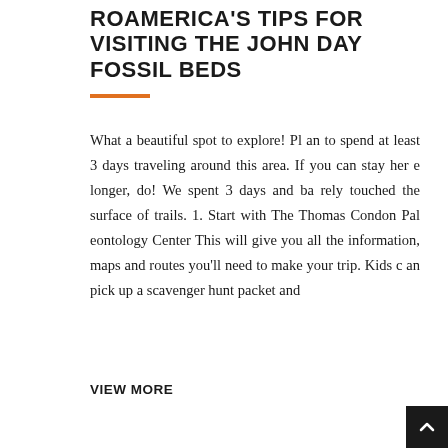ROAMERICA'S TIPS FOR VISITING THE JOHN DAY FOSSIL BEDS
What a beautiful spot to explore! Plan to spend at least 3 days traveling around this area. If you can stay here longer, do! We spent 3 days and barely touched the surface of trails. 1. Start with The Thomas Condon Paleontology Center This will give you all the information, maps and routes you'll need to make your trip. Kids can pick up a scavenger hunt packet and
VIEW MORE